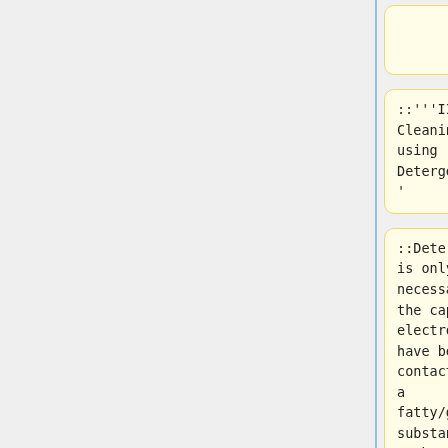::'"II. Cleaning using Detergents'''
::Detergent is only necessary if the cap or electrodes have been in contact with a fatty/greasy substance such as sweat, hand cream, styling